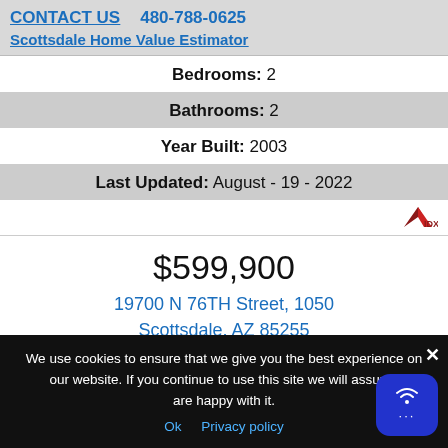CONTACT US   480-788-0625
Scottsdale Home Value Estimator
Bedrooms: 2
Bathrooms: 2
Year Built: 2003
Last Updated: August - 19 - 2022
[Figure (logo): IDX logo - triangle with IDX text]
$599,900
19700 N 76TH Street, 1050
Scottsdale, AZ 85255
[Figure (photo): Exterior photo of a building with brick/brown facade and trees against blue sky]
We use cookies to ensure that we give you the best experience on our website. If you continue to use this site we will assume are happy with it.
Ok   Privacy policy